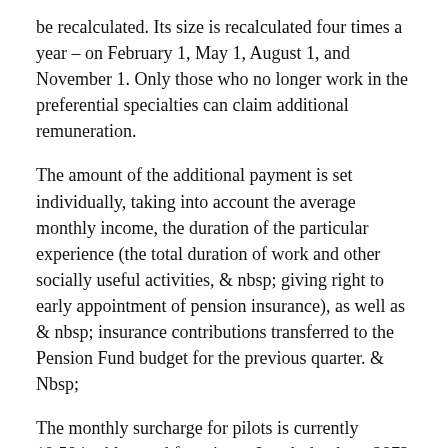be recalculated. Its size is recalculated four times a year – on February 1, May 1, August 1, and November 1. Only those who no longer work in the preferential specialties can claim additional remuneration.
The amount of the additional payment is set individually, taking into account the average monthly income, the duration of the particular experience (the total duration of work and other socially useful activities, & nbsp; giving right to early appointment of pension insurance), as well as & nbsp; insurance contributions transferred to the Pension Fund budget for the previous quarter. & Nbsp;
The monthly surcharge for pilots is currently 19,584 rubles, and for minors & mdash; about 3873 rubles. The supplement in November will amount to & nbsp; amounting to approximately 20,000 and 4,000, respectively. & Nbsp; As stated in the CRF, & nbsp; for